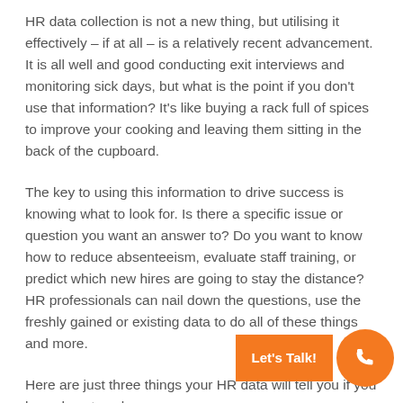HR data collection is not a new thing, but utilising it effectively – if at all – is a relatively recent advancement. It is all well and good conducting exit interviews and monitoring sick days, but what is the point if you don't use that information? It's like buying a rack full of spices to improve your cooking and leaving them sitting in the back of the cupboard.
The key to using this information to drive success is knowing what to look for. Is there a specific issue or question you want an answer to? Do you want to know how to reduce absenteeism, evaluate staff training, or predict which new hires are going to stay the distance? HR professionals can nail down the questions, use the freshly gained or existing data to do all of these things and more.
Here are just three things your HR data will tell you if you know how to ask: